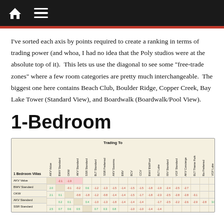I’ve sorted each axis by points required to create a ranking in terms of trading power (and whoa, I had no idea that the Poly studios were at the absolute top of it). This lets us use the diagonal to see some “free-trade zones” where a few room categories are pretty much interchangeable. The biggest one here contains Beach Club, Boulder Ridge, Copper Creek, Bay Lake Tower (Standard View), and Boardwalk (Boardwalk/Pool View).
1-Bedroom
| 1 Bedroom Villas | AKV Value | BWV Standard | OKW | AKV Standard | SSR Standard | BLT Standard | SSR Preferred | AKV Savanna | BRV | BCV | CCV | BWV BW/Pool | BLT Lake | RIV Standard | VGF Standard | AKV Concierge | BLT Theme Park | Riv Preferred | VGF Lake |
| --- | --- | --- | --- | --- | --- | --- | --- | --- | --- | --- | --- | --- | --- | --- | --- | --- | --- | --- | --- |
| AKV Value |  |  |
| BWV Standard | 2.0 | -0.1 | -0.2 | 0.6 | -1.2 | -1.3 | -1.5 | -1.4 | -1.5 | -1.5 | -1.8 | -1.9 | -2.4 | -2.5 | -2.7 |  |
| OKW | 2.1 | 0.1 |  | -0.8 | -1.8 | -1.2 | -0.8 | -1.4 | -1.4 | -1.5 | -1.7 | -1.8 | -2.3 | -2.5 | -2.8 | -2.8 | -3.1 |
| AKV Standard |  | 0.2 | 0.1 |  | 0.4 | -1.0 | -1.3 | -1.8 | -1.4 | -1.4 | -1.4 |  | -1.7 | -2.5 | -2.2 | -2.6 | -2.9 | -2.8 | 3.0 |
| SSR Standard | 2.5 | 0.7 | 0.6 | 0.5 |  | 0.7 | 0.3 | 0.8 |  | -1.0 | -1.0 | -1.4 | -1.4 |  |  |